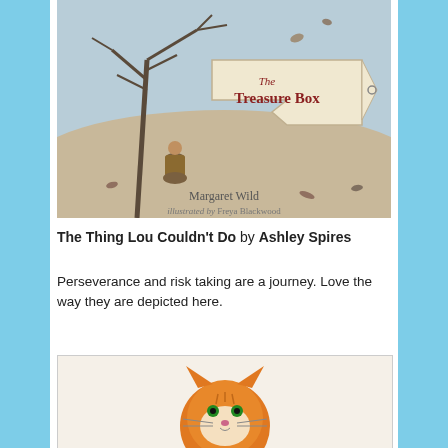[Figure (illustration): Book cover of 'The Treasure Box' by Margaret Wild, illustrated by Freya Blackwood. Shows a child kneeling under a bare tree in a wintry landscape, with a large paper tag reading 'The Treasure Box' in red script lettering.]
The Thing Lou Couldn't Do by Ashley Spires
Perseverance and risk taking are a journey. Love the way they are depicted here.
[Figure (illustration): Book cover of 'The Thing Lou Couldn't Do' by Ashley Spires showing an orange tabby cat character.]